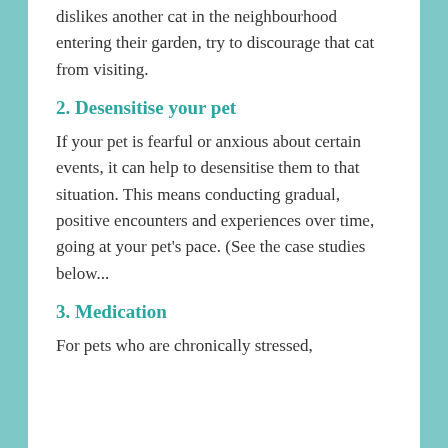example, if your cat dislikes another cat in the neighbourhood entering their garden, try to discourage that cat from visiting.
2. Desensitise your pet
If your pet is fearful or anxious about certain events, it can help to desensitise them to that situation. This means conducting gradual, positive encounters and experiences over time, going at your pet's pace. (See the case studies below...
3. Medication
For pets who are chronically stressed, experiencing finding it difficult to cope with